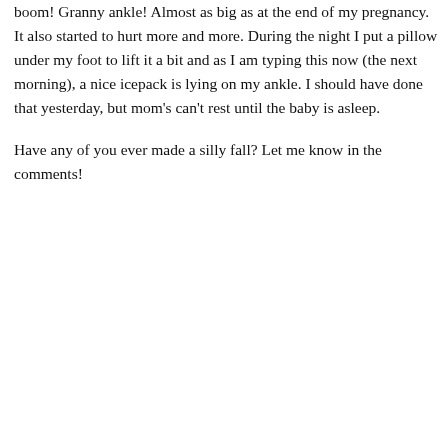boom! Granny ankle! Almost as big as at the end of my pregnancy. It also started to hurt more and more. During the night I put a pillow under my foot to lift it a bit and as I am typing this now (the next morning), a nice icepack is lying on my ankle. I should have done that yesterday, but mom's can't rest until the baby is asleep.
Have any of you ever made a silly fall? Let me know in the comments!
[Figure (photo): Cookie consent overlay on top of a photo of a woman (Simone). The overlay contains a heart logo and 'SIMONE' text, cookie policy text, a 'Learn more' link, and an OK button. Behind/beside the overlay is a partially visible portrait photo.]